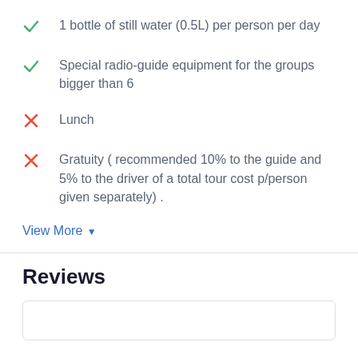1 bottle of still water (0.5L) per person per day
Special radio-guide equipment for the groups bigger than 6
Lunch
Gratuity ( recommended 10% to the guide and 5% to the driver of a total tour cost p/person given separately) .
View More
Reviews